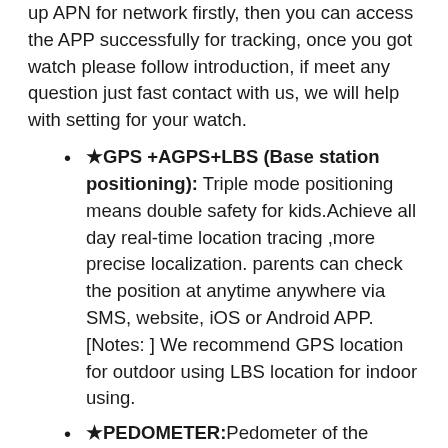up APN for network firstly, then you can access the APP successfully for tracking, once you got watch please follow introduction, if meet any question just fast contact with us, we will help with setting for your watch.
★GPS +AGPS+LBS (Base station positioning): Triple mode positioning means double safety for kids.Achieve all day real-time location tracing ,more precise localization. parents can check the position at anytime anywhere via SMS, website, iOS or Android APP.[Notes: ] We recommend GPS location for outdoor using LBS location for indoor using.
★PEDOMETER:Pedometer of the smartwatch needs open via APP settings-health to switch on. It is one of the most important function for kids health monitor,you can check steps,distance and calories by history record and know kids health situation easily.